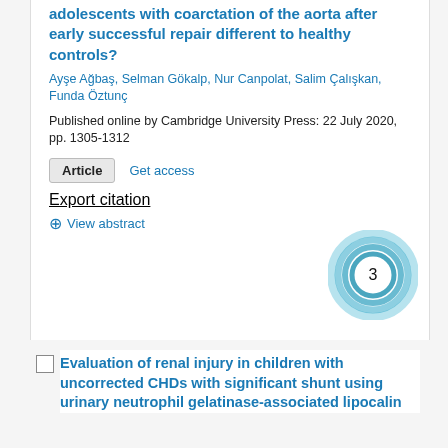adolescents with coarctation of the aorta after early successful repair different to healthy controls?
Ayşe Ağbaş, Selman Gökalp, Nur Canpolat, Salim Çalışkan, Funda Öztunç
Published online by Cambridge University Press: 22 July 2020, pp. 1305-1312
Article   Get access
Export citation
⊕ View abstract
[Figure (other): Circular badge with the number 3 in the center, surrounded by blue concentric rings]
Evaluation of renal injury in children with uncorrected CHDs with significant shunt using urinary neutrophil gelatinase-associated lipocalin